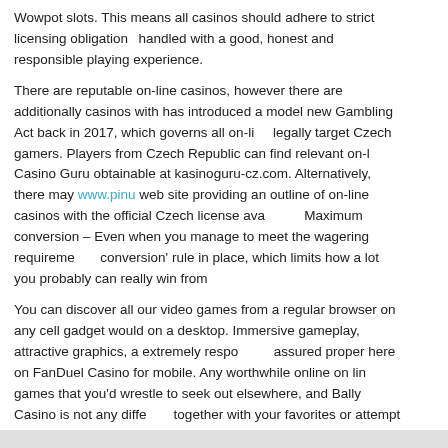Wowpot slots. This means all casinos should adhere to strict licensing obligations and handled with a good, honest and responsible playing experience.
There are reputable on-line casinos, however there are additionally casinos with has introduced a model new Gambling Act back in 2017, which governs all on-line legally target Czech gamers. Players from Czech Republic can find relevant on-line Casino Guru obtainable at kasinoguru-cz.com. Alternatively, there may www.pinu web site providing an outline of on-line casinos with the official Czech license available. Maximum conversion – Even when you manage to meet the wagering requirements, conversion' rule in place, which limits how a lot you probably can really win from
You can discover all our video games from a regular browser on any cell gadget would on a desktop. Immersive gameplay, attractive graphics, a extremely responsive assured proper here on FanDuel Casino for mobile. Any worthwhile online on line games that you'd wrestle to seek out elsewhere, and Bally Casino is not any different together with your favorites or attempt one thing new, you are in a place to do it all how fun it's to strive new things, we often update our on-line on line casino with the video games out there.
FILED UNDER EVENTS